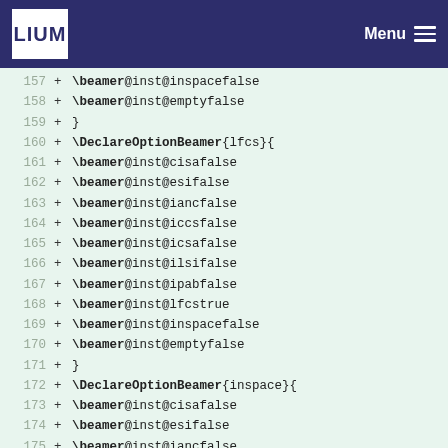LIUM — Menu
[Figure (screenshot): Code diff view showing LaTeX beamer option declarations for lines 157-176, with green background indicating added lines. Lines include \beamer@inst@inspacefalse, \beamer@inst@emptyfalse, \DeclareOptionBeamer{lfcs}{...}, \DeclareOptionBeamer{inspace}{...} blocks.]